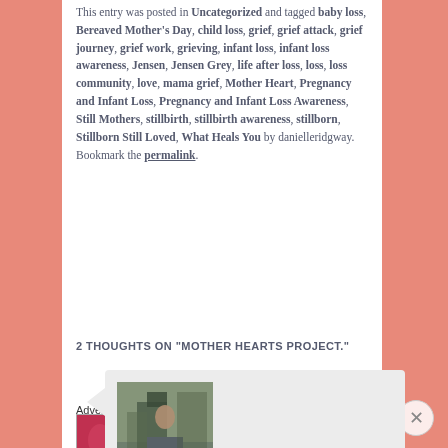This entry was posted in Uncategorized and tagged baby loss, Bereaved Mother's Day, child loss, grief, grief attack, grief journey, grief work, grieving, infant loss, infant loss awareness, Jensen, Jensen Grey, life after loss, loss, loss community, love, mama grief, Mother Heart, Pregnancy and Infant Loss, Pregnancy and Infant Loss Awareness, Still Mothers, stillbirth, stillbirth awareness, stillborn, Stillborn Still Loved, What Heals You by danielleridgway. Bookmark the permalink.
2 THOUGHTS ON "MOTHER HEARTS PROJECT."
[Figure (photo): Avatar photo of user jenjen06, showing a person climbing or standing against a rock face]
jenjen06 on May 3, 2017 at 1:04 pm said:
[Figure (infographic): Advertisements banner: Ulta Beauty advertisement with makeup imagery - lips, brush, eyes, Ulta logo, eye makeup photo, and SHOP NOW button]